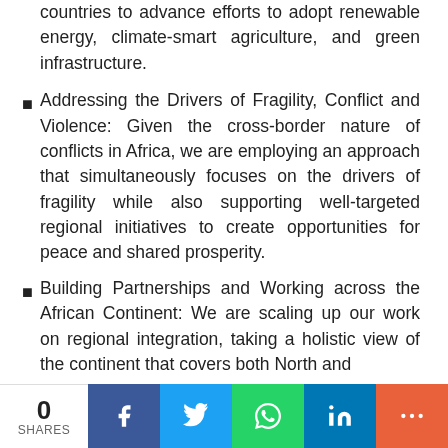countries to advance efforts to adopt renewable energy, climate-smart agriculture, and green infrastructure.
Addressing the Drivers of Fragility, Conflict and Violence: Given the cross-border nature of conflicts in Africa, we are employing an approach that simultaneously focuses on the drivers of fragility while also supporting well-targeted regional initiatives to create opportunities for peace and shared prosperity.
Building Partnerships and Working across the African Continent: We are scaling up our work on regional integration, taking a holistic view of the continent that covers both North and Sub-Saharan Africa.
0 SHARES | Facebook | Twitter | WhatsApp | LinkedIn | More